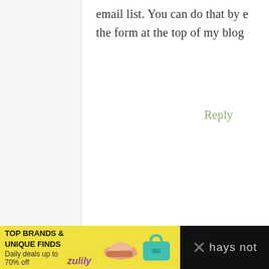email list. You can do that by e the form at the top of my blog
Reply
Doreen Luck Salter says
February 1, 2017 at 9:04 pm
[Figure (other): Advertisement banner for Zulily: TOP BRANDS & UNIQUE FINDS - Daily deals up to 70% off, with images of shoes and a teal purse, and a close/dismiss button on the right]
hays not